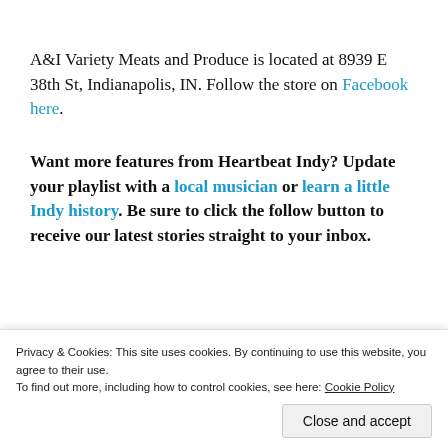A&I Variety Meats and Produce is located at 8939 E 38th St, Indianapolis, IN. Follow the store on Facebook here.
Want more features from Heartbeat Indy? Update your playlist with a local musician or learn a little Indy history. Be sure to click the follow button to receive our latest stories straight to your inbox.
Advertisements
Privacy & Cookies: This site uses cookies. By continuing to use this website, you agree to their use.
To find out more, including how to control cookies, see here: Cookie Policy
Close and accept